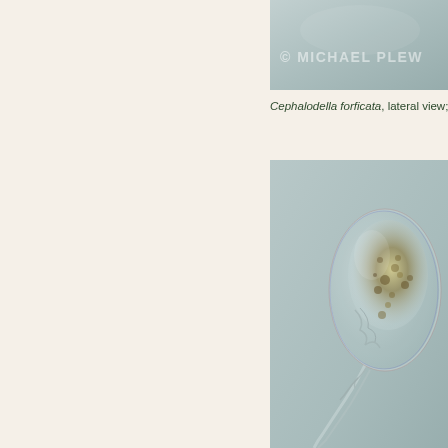[Figure (photo): Microscopy photo of Cephalodella forficata, top portion showing watermark '© MICHAEL PLEW...' on a blue-gray background]
Cephalodella forficata, lateral view; specimen fro...
[Figure (photo): Microscopy photo of Cephalodella forficata, lateral view, showing the organism's body with internal organs visible against a blue-gray background. The specimen shows the characteristic body shape with a foot region tapering to a point at the bottom.]